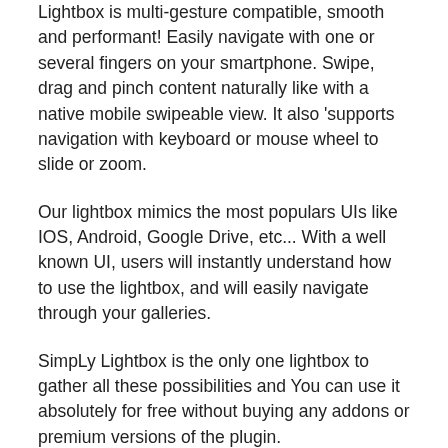Lightbox is multi-gesture compatible, smooth and performant! Easily navigate with one or several fingers on your smartphone. Swipe, drag and pinch content naturally like with a native mobile swipeable view. It also 'supports navigation with keyboard or mouse wheel to slide or zoom.
Our lightbox mimics the most populars UIs like IOS, Android, Google Drive, etc... With a well known UI, users will instantly understand how to use the lightbox, and will easily navigate through your galleries.
SimpLy Lightbox is the only one lightbox to gather all these possibilities and You can use it absolutely for free without buying any addons or premium versions of the plugin.
A SUPER-FAST EXPERIENCE